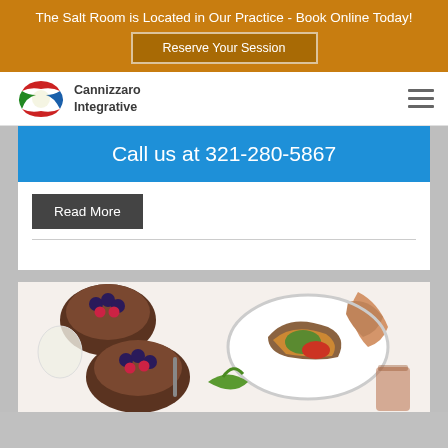The Salt Room is Located in Our Practice - Book Online Today!
Reserve Your Session
[Figure (logo): Cannizzaro Integrative logo with circular overlapping colored shapes]
Cannizzaro Integrative
Call us at 321-280-5867
Read More
[Figure (photo): Overhead view of colorful food spread including chocolate mousse with berries, tacos, and drinks on white surface]